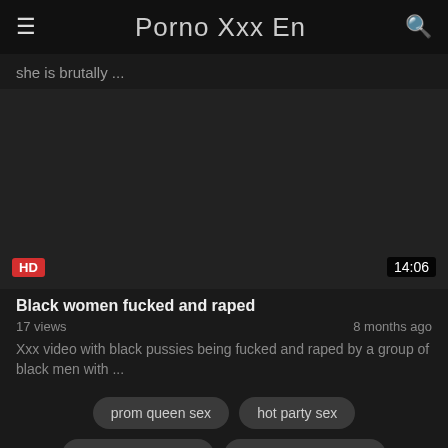Porno Xxx En
she is brutally ...
[Figure (screenshot): Dark video thumbnail area with HD badge and 14:06 duration badge]
Black women fucked and raped
17 views    8 months ago
Xxx video with black pussies being fucked and raped by a group of black men with ...
prom queen sex
hot party sex
best pussy fucking
women tied up nude